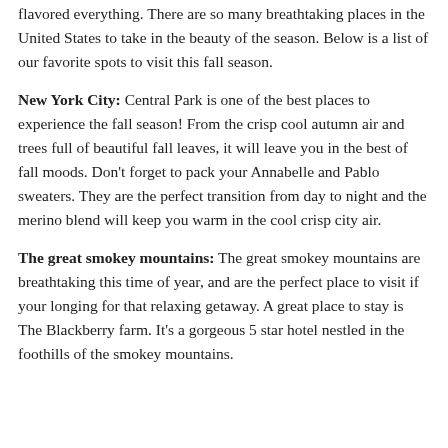flavored everything. There are so many breathtaking places in the United States to take in the beauty of the season. Below is a list of our favorite spots to visit this fall season.
New York City: Central Park is one of the best places to experience the fall season! From the crisp cool autumn air and trees full of beautiful fall leaves, it will leave you in the best of fall moods. Don't forget to pack your Annabelle and Pablo sweaters. They are the perfect transition from day to night and the merino blend will keep you warm in the cool crisp city air.
The great smokey mountains: The great smokey mountains are breathtaking this time of year, and are the perfect place to visit if your longing for that relaxing getaway. A great place to stay is The Blackberry farm. It's a gorgeous 5 star hotel nestled in the foothills of the smokey mountains.